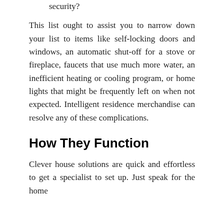Where do I truly feel like my home is lacking in security?
This list ought to assist you to narrow down your list to items like self-locking doors and windows, an automatic shut-off for a stove or fireplace, faucets that use much more water, an inefficient heating or cooling program, or home lights that might be frequently left on when not expected. Intelligent residence merchandise can resolve any of these complications.
How They Function
Clever house solutions are quick and effortless to get a specialist to set up. Just speak for the home